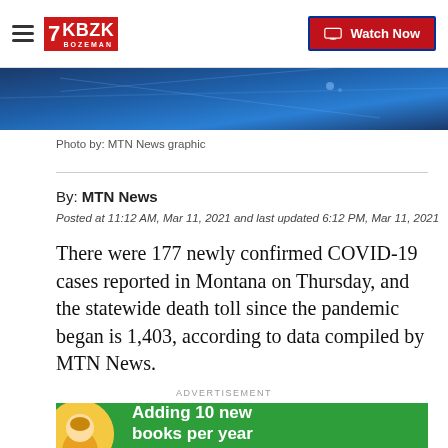7 KBZK BOZEMAN | Watch Now
[Figure (photo): Blue graphic banner image with diagonal light streaks on a dark blue background]
Photo by: MTN News graphic
By: MTN News
Posted at 11:12 AM, Mar 11, 2021 and last updated 6:12 PM, Mar 11, 2021
There were 177 newly confirmed COVID-19 cases reported in Montana on Thursday, and the statewide death toll since the pandemic began is 1,403, according to data compiled by MTN News.
ADVERTISEMENT
[Figure (photo): Green advertisement banner with yellow circle showing a child and text reading: Adding 10 new books per year to a child's...]